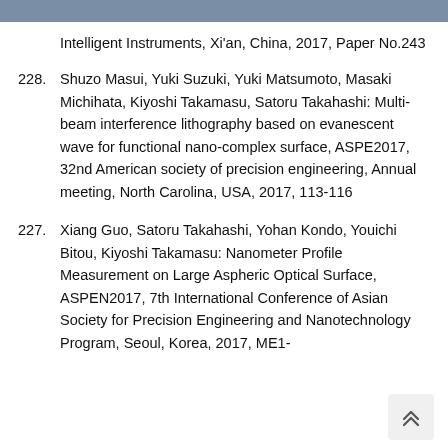Intelligent Instruments, Xi'an, China, 2017, Paper No.243
228. Shuzo Masui, Yuki Suzuki, Yuki Matsumoto, Masaki Michihata, Kiyoshi Takamasu, Satoru Takahashi: Multi-beam interference lithography based on evanescent wave for functional nano-complex surface, ASPE2017, 32nd American society of precision engineering, Annual meeting, North Carolina, USA, 2017, 113-116
227. Xiang Guo, Satoru Takahashi, Yohan Kondo, Youichi Bitou, Kiyoshi Takamasu: Nanometer Profile Measurement on Large Aspheric Optical Surface, ASPEN2017, 7th International Conference of Asian Society for Precision Engineering and Nanotechnology Program, Seoul, Korea, 2017, ME1-